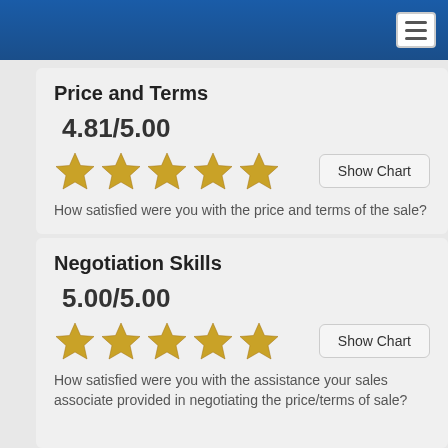Price and Terms
4.81/5.00
[Figure (other): Five gold star rating icons]
How satisfied were you with the price and terms of the sale?
Negotiation Skills
5.00/5.00
[Figure (other): Five gold star rating icons]
How satisfied were you with the assistance your sales associate provided in negotiating the price/terms of sale?